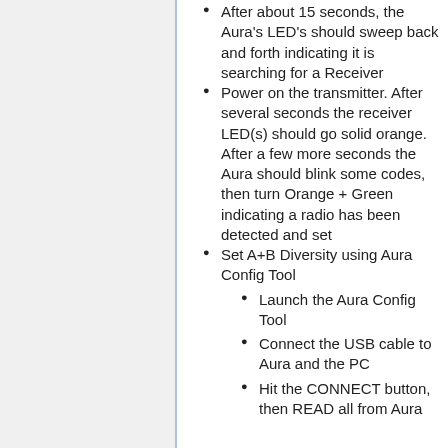After about 15 seconds, the Aura's LED's should sweep back and forth indicating it is searching for a Receiver
Power on the transmitter. After several seconds the receiver LED(s) should go solid orange. After a few more seconds the Aura should blink some codes, then turn Orange + Green indicating a radio has been detected and set
Set A+B Diversity using Aura Config Tool
Launch the Aura Config Tool
Connect the USB cable to Aura and the PC
Hit the CONNECT button, then READ all from Aura